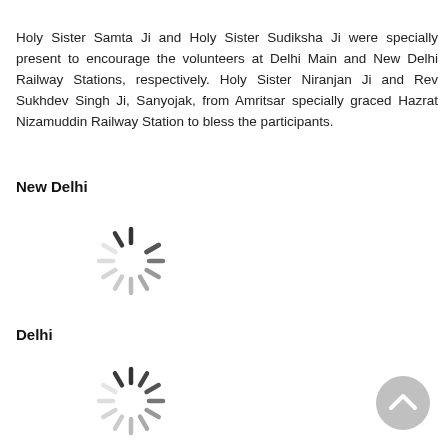Holy Sister Samta Ji and Holy Sister Sudiksha Ji were specially present to encourage the volunteers at Delhi Main and New Delhi Railway Stations, respectively. Holy Sister Niranjan Ji and Rev Sukhdev Singh Ji, Sanyojak, from Amritsar specially graced Hazrat Nizamuddin Railway Station to bless the participants.
New Delhi
[Figure (other): Loading spinner graphic (circular animation placeholder) for New Delhi image]
Delhi
[Figure (other): Loading spinner graphic (circular animation placeholder) for Delhi image]